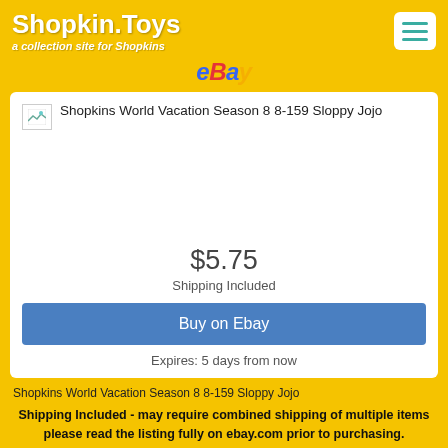Shopkin.Toys — a collection site for Shopkins
eBay
[Figure (screenshot): Product listing card showing Shopkins World Vacation Season 8 8-159 Sloppy Jojo with price $5.75, Shipping Included, Buy on Ebay button, Expires: 5 days from now]
Shopkins World Vacation Season 8 8-159 Sloppy Jojo
Shipping Included - may require combined shipping of multiple items please read the listing fully on ebay.com prior to purchasing.